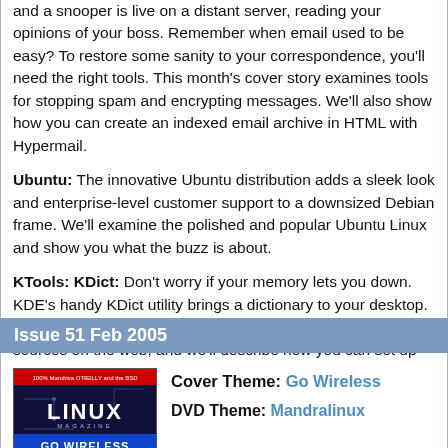and a snooper is live on a distant server, reading your opinions of your boss. Remember when email used to be easy? To restore some sanity to your correspondence, you'll need the right tools. This month's cover story examines tools for stopping spam and encrypting messages. We'll also show how you can create an indexed email archive in HTML with Hypermail.
Ubuntu: The innovative Ubuntu distribution adds a sleek look and enterprise-level customer support to a downsized Debian frame. We'll examine the polished and popular Ubuntu Linux and show you what the buzz is about.
KTools: KDict: Don't worry if your memory lets you down. KDE's handy KDict utility brings a dictionary to your desktop. We'll show you how to configure KDict to access dictionary sources on the web, and we'll describe how you can set up your own local dictionary database for faster searches and custom control.
Issue 51 Feb 2005
[Figure (photo): Linux Magazine cover for Issue 51 Feb 2005, showing 'Go Wireless' theme with blue circuit board imagery]
Cover Theme: Go Wireless
DVD Theme: Mandralinux